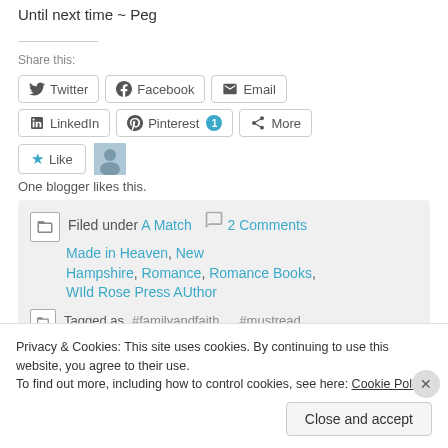Until next time ~ Peg
Share this:
Twitter  Facebook  Email  LinkedIn  Pinterest 1  More
Like
One blogger likes this.
Filed under A Match Made in Heaven, New Hampshire, Romance, Romance Books, WIld Rose Press AUthor   2 Comments
Tagged as #familyandfaith, #mustread
Privacy & Cookies: This site uses cookies. By continuing to use this website, you agree to their use.
To find out more, including how to control cookies, see here: Cookie Policy
Close and accept